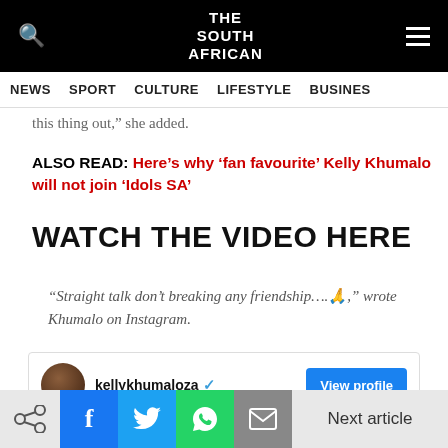THE SOUTH AFRICAN
NEWS  SPORT  CULTURE  LIFESTYLE  BUSINESS
this thing out,” she added.
ALSO READ: Here’s why ‘fan favourite’ Kelly Khumalo will not join ‘Idols SA’
WATCH THE VIDEO HERE
“Straight talk don’t breaking any friendship….🙏🏽,” wrote Khumalo on Instagram.
[Figure (screenshot): Instagram embed box showing kellykhumaloza verified profile with a View profile button]
Next article